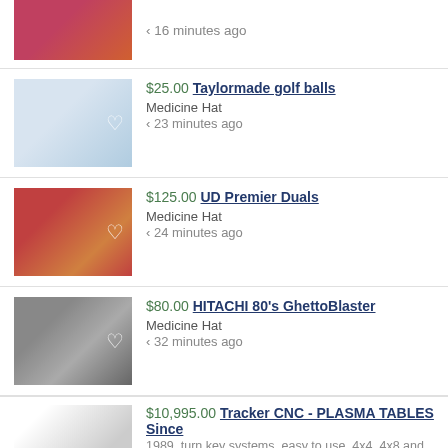[Figure (photo): Partial listing at top: photo of items with pink/red tones, showing '< 16 minutes ago' text]
‹ 16 minutes ago
[Figure (photo): Grid of white golf balls in a box]
$25.00 Taylormade golf balls
Medicine Hat
‹ 23 minutes ago
[Figure (photo): Sports trading cards with orange envelope]
$125.00 UD Premier Duals
Medicine Hat
‹ 24 minutes ago
[Figure (photo): Silver HITACHI boombox ghetto blaster from the 80s]
$80.00 HITACHI 80's GhettoBlaster
Medicine Hat
‹ 32 minutes ago
[Figure (photo): CNC plasma table partial view]
$10,995.00 Tracker CNC - PLASMA TABLES Since
1989, turn key systems, easy to use, 4x4, 4x8 and